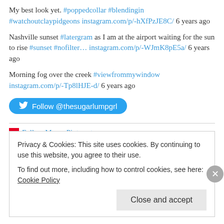My best look yet. #poppedcollar #blendingin #watchoutclaypidgeons instagram.com/p/-hXfPzJE8C/ 6 years ago
Nashville sunset #latergram as I am at the airport waiting for the sun to rise #sunset #nofilter… instagram.com/p/-WJmK8pE5a/ 6 years ago
Morning fog over the creek #viewfrommywindow instagram.com/p/-Tp8lHJE-d/ 6 years ago
Follow @thesugarlumpgrl
[Figure (other): Follow Me on Pinterest link with small icon]
Privacy & Cookies: This site uses cookies. By continuing to use this website, you agree to their use.
To find out more, including how to control cookies, see here: Cookie Policy
Close and accept